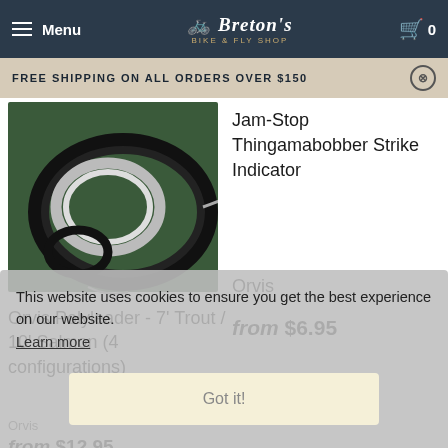Menu | Breton's Bike & Fly Shop | 0
FREE SHIPPING ON ALL ORDERS OVER $150
[Figure (photo): Coiled fishing leader/polyleader lines on a dark green background]
Orvis Polyleader - 7' Trout / 10' Salmon (4 configurations)
Orvis
from $12.95
Jam-Stop Thingamabobber Strike Indicator
Orvis
from $6.95
This website uses cookies to ensure you get the best experience on our website. Learn more
Got it!